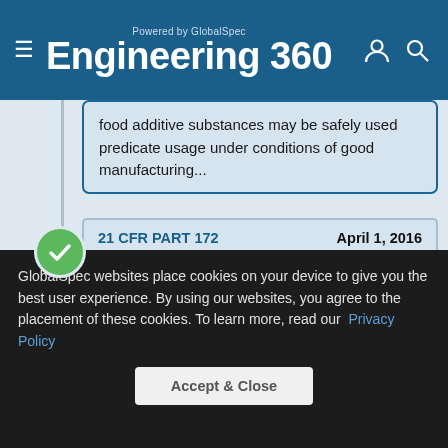Powered by GlobalSpec Engineering 360
food additive substances may be safely used predicate usage under conditions of good manufacturing...
21 CFR PART 172    April 1, 2016
FOOD ADDITIVES PERMITTED FOR DIRECT ADDITION TO FOOD FOR HUMAN CONSUMPTION
GlobalSpec websites place cookies on your device to give you the best user experience. By using our websites, you agree to the placement of these cookies. To learn more, read our Privacy Policy
Accept & Close